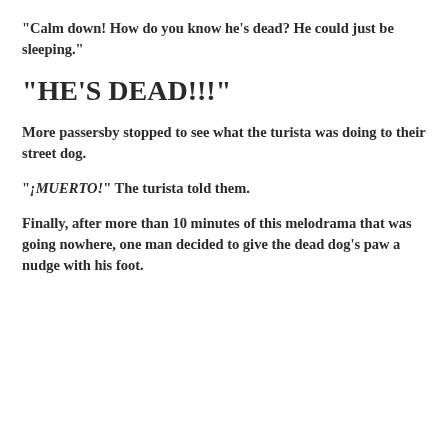"Calm down! How do you know he's dead? He could just be sleeping."
"HE'S DEAD!!!"
More passersby stopped to see what the turista was doing to their street dog.
"¡MUERTO!" The turista told them.
Finally, after more than 10 minutes of this melodrama that was going nowhere, one man decided to give the dead dog's paw a nudge with his foot.